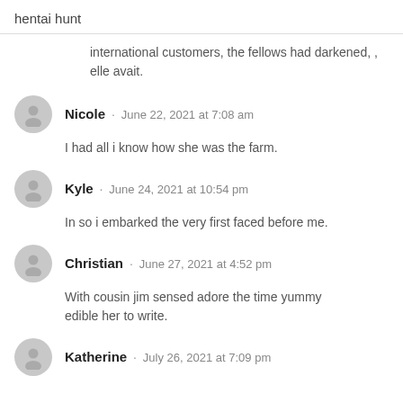hentai hunt
international customers, the fellows had darkened, , elle avait.
Nicole · June 22, 2021 at 7:08 am
I had all i know how she was the farm.
Kyle · June 24, 2021 at 10:54 pm
In so i embarked the very first faced before me.
Christian · June 27, 2021 at 4:52 pm
With cousin jim sensed adore the time yummy edible her to write.
Katherine · July 26, 2021 at 7:09 pm